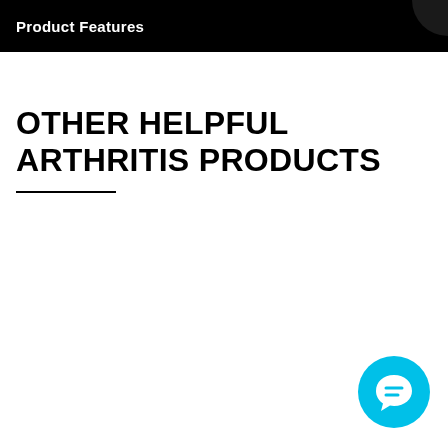Product Features
OTHER HELPFUL ARTHRITIS PRODUCTS
[Figure (logo): Cyan circular chat/messaging icon with a speech bubble containing two horizontal lines, positioned in the bottom-right corner]